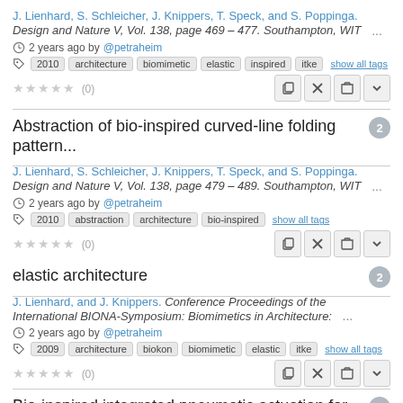J. Lienhard, S. Schleicher, J. Knippers, T. Speck, and S. Poppinga. Design and Nature V, Vol. 138, page 469 – 477. Southampton, WIT ... 2 years ago by @petraheim
Tags: 2010, architecture, biomimetic, elastic, inspired, itke, show all tags
★★★★★ (0)
Abstraction of bio-inspired curved-line folding pattern... [2]
J. Lienhard, S. Schleicher, J. Knippers, T. Speck, and S. Poppinga. Design and Nature V, Vol. 138, page 479 – 489. Southampton, WIT ... 2 years ago by @petraheim
Tags: 2010, abstraction, architecture, bio-inspired, show all tags
★★★★★ (0)
elastic architecture [2]
J. Lienhard, and J. Knippers. Conference Proceedings of the International BIONA-Symposium: Biomimetics in Architecture: ... 2 years ago by @petraheim
Tags: 2009, architecture, biokon, biomimetic, elastic, itke, show all tags
★★★★★ (0)
Bio-inspired integrated pneumatic actuation for com